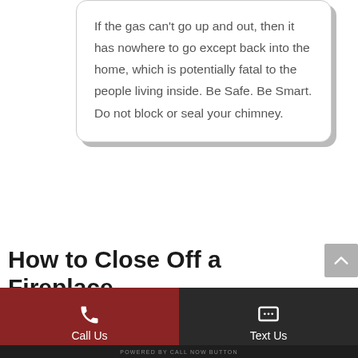If the gas can't go up and out, then it has nowhere to go except back into the home, which is potentially fatal to the people living inside. Be Safe. Be Smart. Do not block or seal your chimney.
How to Close Off a Fireplace
Call Us | Text Us | POWERED BY CALL NOW BUTTON